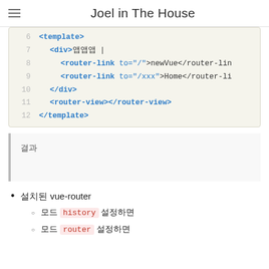Joel in The House
[Figure (screenshot): Code block showing Vue.js template HTML with router-link and router-view tags, lines 6-12]
결과
설치된 vue-router
모드 history 설정하면
모드 router 설정하면